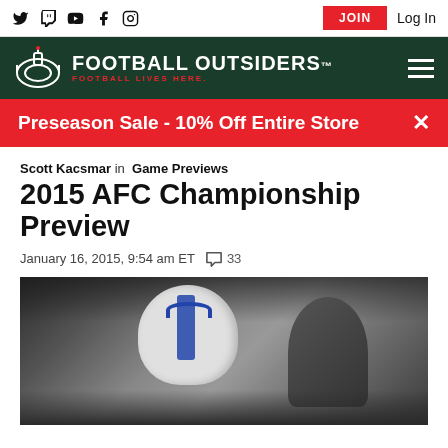Social icons: Twitter, Twitch, YouTube, Facebook, Instagram | JOIN | Log In
FOOTBALL OUTSIDERS — FOOTBALL LIVES HERE.
Preseason Sale - 10% Off Entire Store
Scott Kacsmar in Game Previews
2015 AFC Championship Preview
January 16, 2015, 9:54 am ET  33
[Figure (photo): Football players on field, one wearing a white Indianapolis Colts helmet, facing another player, surrounded by crowd and media]